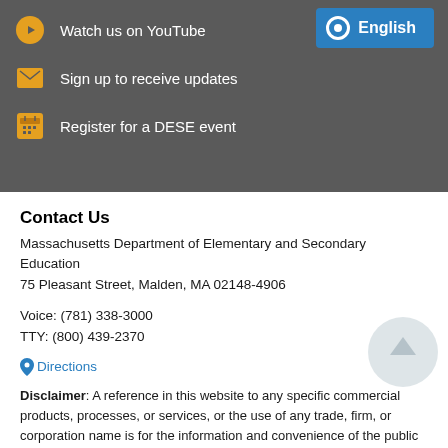Watch us on YouTube
Sign up to receive updates
Register for a DESE event
Contact Us
Massachusetts Department of Elementary and Secondary Education
75 Pleasant Street, Malden, MA 02148-4906
Voice: (781) 338-3000
TTY: (800) 439-2370
Directions
Disclaimer: A reference in this website to any specific commercial products, processes, or services, or the use of any trade, firm, or corporation name is for the information and convenience of the public and does not constitute endorsement or recommendation by the Massachusetts Department of Elementary and Secondary Education.